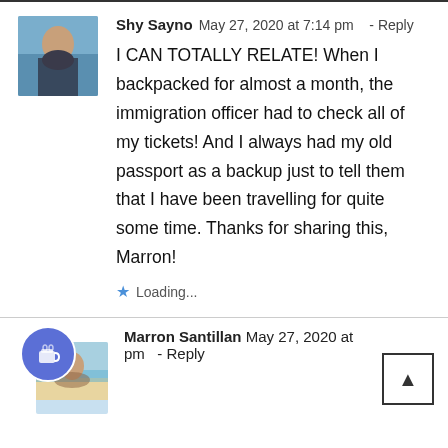Shy Sayno May 27, 2020 at 7:14 pm - Reply
I CAN TOTALLY RELATE! When I backpacked for almost a month, the immigration officer had to check all of my tickets! And I always had my old passport as a backup just to tell them that I have been travelling for quite some time. Thanks for sharing this, Marron!
Loading...
Marron Santillan May 27, 2020 at pm - Reply